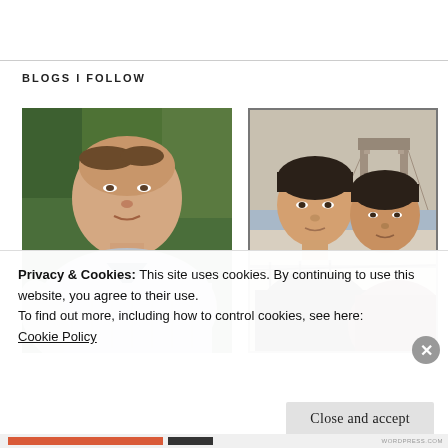BLOGS I FOLLOW
[Figure (photo): Selfie of a middle-aged man in a gray sweater outdoors with green foliage in the background]
[Figure (photo): Two young men posing together near Tower Bridge in London]
Privacy & Cookies: This site uses cookies. By continuing to use this website, you agree to their use.
To find out more, including how to control cookies, see here:
Cookie Policy
Close and accept